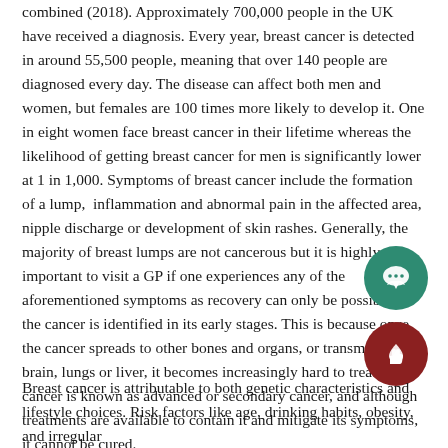combined (2018). Approximately 700,000 people in the UK have received a diagnosis. Every year, breast cancer is detected in around 55,500 people, meaning that over 140 people are diagnosed every day. The disease can affect both men and women, but females are 100 times more likely to develop it. One in eight women face breast cancer in their lifetime whereas the likelihood of getting breast cancer for men is significantly lower at 1 in 1,000. Symptoms of breast cancer include the formation of a lump, inflammation and abnormal pain in the affected area, nipple discharge or development of skin rashes. Generally, the majority of breast lumps are not cancerous but it is highly important to visit a GP if one experiences any of the aforementioned symptoms as recovery can only be possible if the cancer is identified in its early stages. This is because once the cancer spreads to other bones and organs, or transmits to the brain, lungs or liver, it becomes increasingly hard to treat. This cancer is known as advanced or secondary cancer, and although treatments are available to contain it and mitigate its symptoms, it cannot be cured.
Breast cancer is attributable to both genetic characteristics and lifestyle choices. Risk factors like age, drinking habits, obesity, and irregular